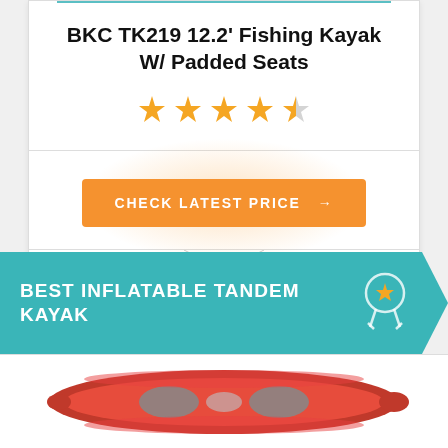BKC TK219 12.2' Fishing Kayak W/ Padded Seats
[Figure (other): 4.5 star rating shown as 5 gold stars (last one half-filled)]
CHECK LATEST PRICE →
BEST INFLATABLE TANDEM KAYAK
[Figure (illustration): Illustration of an orange/red inflatable tandem kayak viewed from above/side angle]